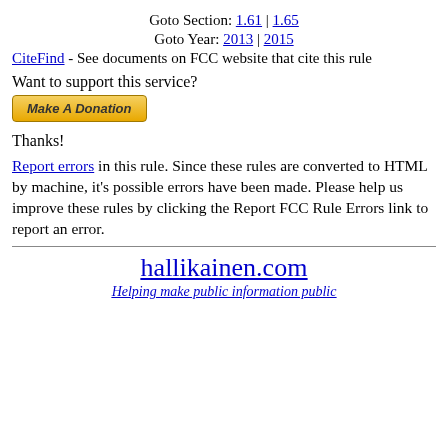Goto Section: 1.61 | 1.65
Goto Year: 2013 | 2015
CiteFind - See documents on FCC website that cite this rule
Want to support this service?
[Figure (other): Make A Donation button (PayPal-style golden button)]
Thanks!
Report errors in this rule. Since these rules are converted to HTML by machine, it's possible errors have been made. Please help us improve these rules by clicking the Report FCC Rule Errors link to report an error.
hallikainen.com
Helping make public information public